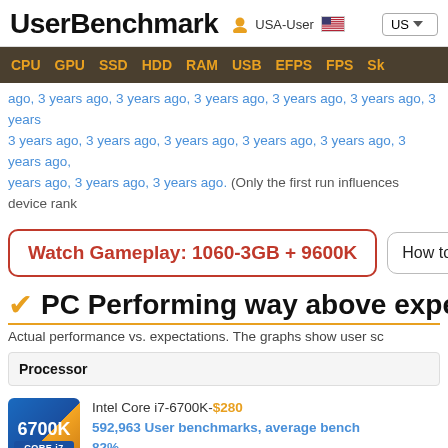UserBenchmark  USA-User  US
CPU  GPU  SSD  HDD  RAM  USB  EFPS  FPS  Sk
ago, 3 years ago, 3 years ago, 3 years ago, 3 years ago, 3 years ago, 3 years 3 years ago, 3 years ago, 3 years ago, 3 years ago, 3 years ago, 3 years ago, years ago, 3 years ago, 3 years ago. (Only the first run influences device rank
Watch Gameplay: 1060-3GB + 9600K
How to co
PC Performing way above expec
Actual performance vs. expectations. The graphs show user sc
| Processor |  |
| --- | --- |
[Figure (logo): Intel Core i7 6700K chip icon — blue and orange gradient with '6700K' and 'CORE i7' text]
Intel Core i7-6700K-$280
592,963 User benchmarks, average bench 82%
LGA1151, 1 CPU, 4 cores, 8 threads
Base clock 4 GHz, turbo 4.7 GHz (avg)